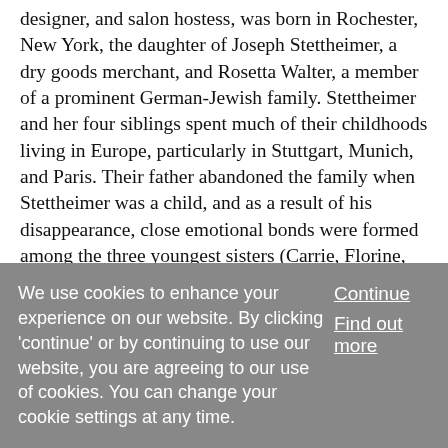designer, and salon hostess, was born in Rochester, New York, the daughter of Joseph Stettheimer, a dry goods merchant, and Rosetta Walter, a member of a prominent German-Jewish family. Stettheimer and her four siblings spent much of their childhoods living in Europe, particularly in Stuttgart, Munich, and Paris. Their father abandoned the family when Stettheimer was a child, and as a result of his disappearance, close emotional bonds were formed among the three youngest sisters (Carrie, Florine, an
... Show More
We use cookies to enhance your experience on our website. By clicking 'continue' or by continuing to use our website, you are agreeing to our use of cookies. You can change your cookie settings at any time.
Continue
Find out more